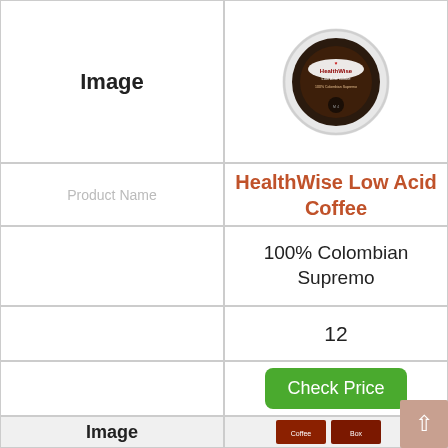Image
[Figure (photo): HealthWise Low Acid Coffee K-cup pod, circular with dark brown label reading 'HealthWise Low Acid Coffee 100% Colombian Supremo']
Product Name
HealthWise Low Acid Coffee
100% Colombian Supremo
12
Check Price
Image
[Figure (photo): Coffee product boxes with K-cup pods shown at bottom of page]